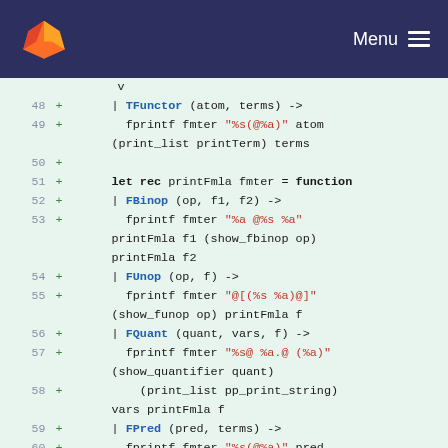GitLab — Menu
[Figure (screenshot): Code diff view showing OCaml source code lines 48-60 with added lines marked with + signs, on a light green background. Lines include TFunctor, FBinop, FUnop, FQuant, FPred pattern matches with fprintf statements.]